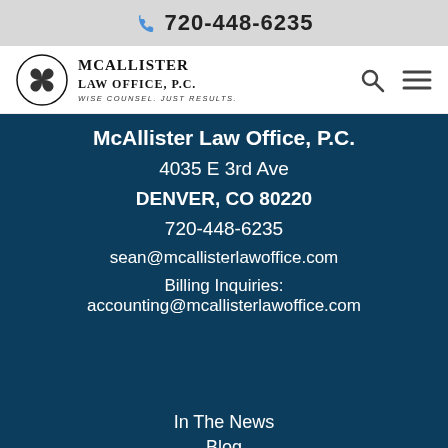720-448-6235
[Figure (logo): McAllister Law Office, P.C. logo with triskelion symbol and tagline Wise Counsel. Just Results.]
McAllister Law Office, P.C.
4035 E 3rd Ave
DENVER, CO 80220
720-448-6235
sean@mcallisterlawoffice.com
Billing Inquiries: accounting@mcallisterlawoffice.com
In The News
Blog